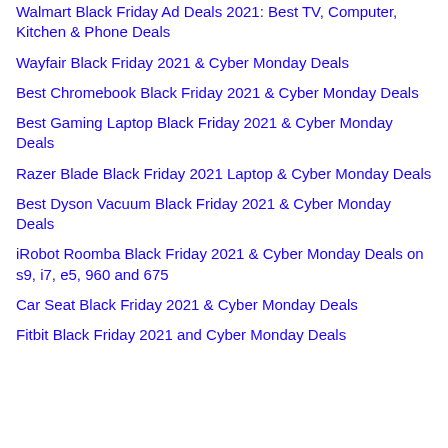Walmart Black Friday Ad Deals 2021: Best TV, Computer, Kitchen & Phone Deals
Wayfair Black Friday 2021 & Cyber Monday Deals
Best Chromebook Black Friday 2021 & Cyber Monday Deals
Best Gaming Laptop Black Friday 2021 & Cyber Monday Deals
Razer Blade Black Friday 2021 Laptop & Cyber Monday Deals
Best Dyson Vacuum Black Friday 2021 & Cyber Monday Deals
iRobot Roomba Black Friday 2021 & Cyber Monday Deals on s9, i7, e5, 960 and 675
Car Seat Black Friday 2021 & Cyber Monday Deals
Fitbit Black Friday 2021 and Cyber Monday Deals